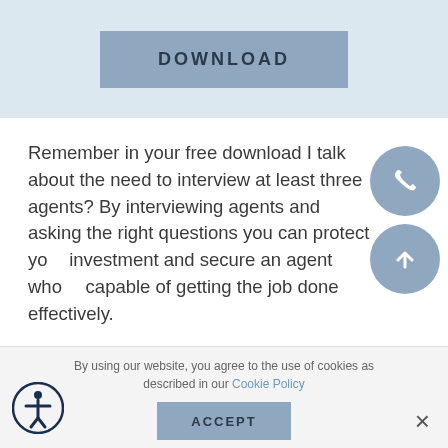[Figure (other): Download button on a light blue banner background]
Remember in your free download I talk about the need to interview at least three agents? By interviewing agents and asking the right questions you can protect your investment and secure an agent who is capable of getting the job done effectively.
During the interview, the agent will do what is called a CMA, or comparative market
By using our website, you agree to the use of cookies as described in our Cookie Policy
ACCEPT